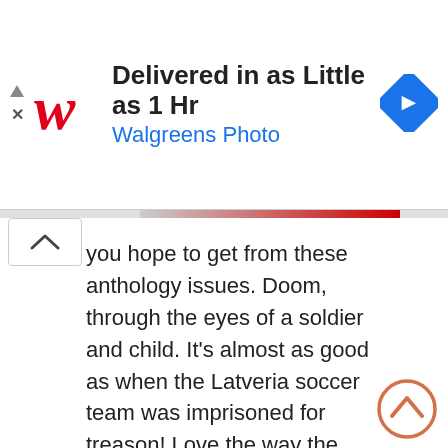[Figure (screenshot): Walgreens Photo advertisement banner. Shows the Walgreen's cursive 'W' logo in red, headline 'Delivered in as Little as 1 Hr' in bold black, subtext 'Walgreens Photo' in blue, and a blue navigation/map icon diamond shape on the right. Small play triangle and X controls on the left.]
you hope to get from these anthology issues. Doom, through the eyes of a soldier and child. It's almost as good as when the Latveria soccer team was imprisoned for treason! Love the way the narration and art interact and tell two different tales of Doom. Also, Doom in battle is gnarly but also hilariously stretched. 8.755/10
'The Face of a Warrior:' She-Hulk smash awkwardness. Freyja and She-Hulk have heart to heart while Blade & Punisher discuss album tastes. This is everything I didn't know I wanted from this crew. 9/10 Not enough Swamp Dragon.
Join me again in a week for the finale of Worthy, as we take a look at the end as it reflects the beginning